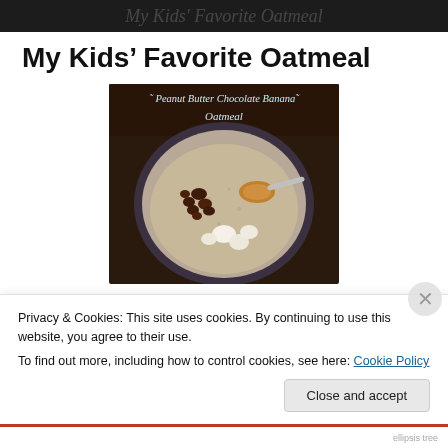[Figure (photo): Dark header image strip at the top of the blog page, partially cropped blog header graphic with cursive text barely visible]
My Kids' Favorite Oatmeal
[Figure (photo): A bowl of oatmeal topped with chocolate chips, a spoonful of peanut butter, and banana chunks. Text overlay at top reads: '~ Peanut Butter Chocolate Banana~ Oatmeal']
Privacy & Cookies: This site uses cookies. By continuing to use this website, you agree to their use.
To find out more, including how to control cookies, see here: Cookie Policy
Close and accept